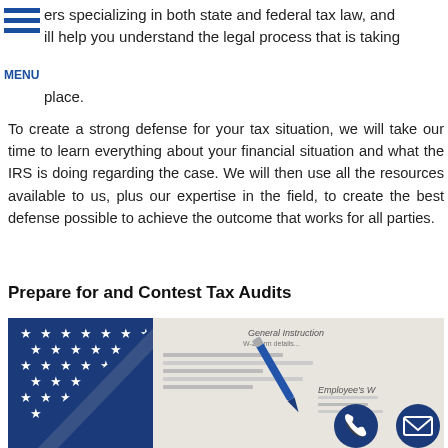ers specializing in both state and federal tax law, and ill help you understand the legal process that is taking place.
To create a strong defense for your tax situation, we will take our time to learn everything about your financial situation and what the IRS is doing regarding the case. We will then use all the resources available to us, plus our expertise in the field, to create the best defense possible to achieve the outcome that works for all parties.
Prepare for and Contest Tax Audits
[Figure (photo): Photo of an American flag and tax forms with a blue pen, with phone and email contact icons overlaid at bottom right]